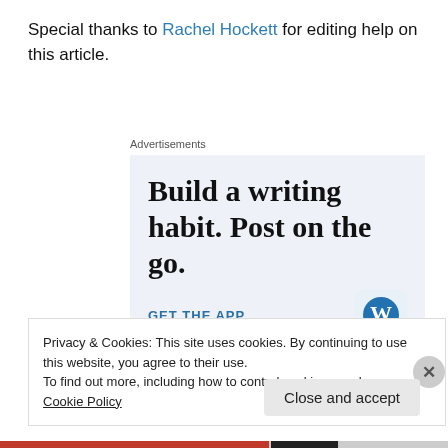Special thanks to Rachel Hockett for editing help on this article.
Advertisements
[Figure (illustration): Advertisement banner with text 'Build a writing habit. Post on the go.' and a 'GET THE APP' call-to-action with WordPress logo]
Privacy & Cookies: This site uses cookies. By continuing to use this website, you agree to their use.
To find out more, including how to control cookies, see here: Cookie Policy
Close and accept